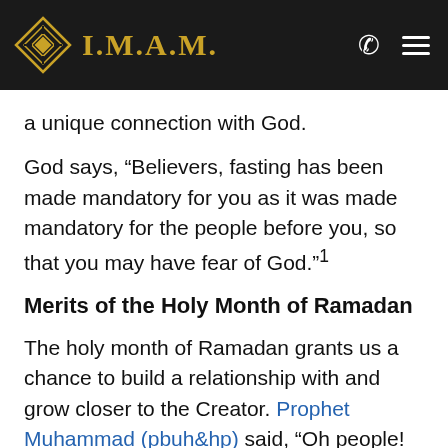I.M.A.M.
a unique connection with God.
God says, “Believers, fasting has been made mandatory for you as it was made mandatory for the people before you, so that you may have fear of God.”¹
Merits of the Holy Month of Ramadan
The holy month of Ramadan grants us a chance to build a relationship with and grow closer to the Creator. Prophet Muhammad (pbuh&hp) said, “Oh people! The month of